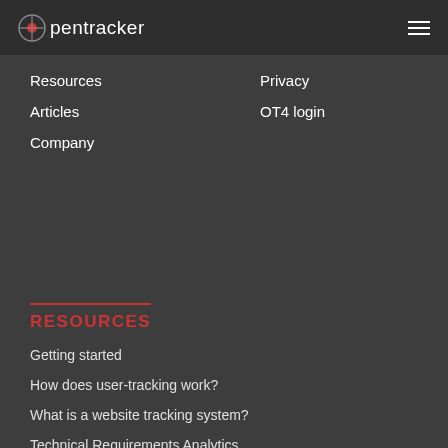opentracker
Resources
Articles
Company
Privacy
OT4 login
RESOURCES
Getting started
How does user-tracking work?
What is a website tracking system?
Technical Requirements Analytics
Downloadable brochures & leaflets